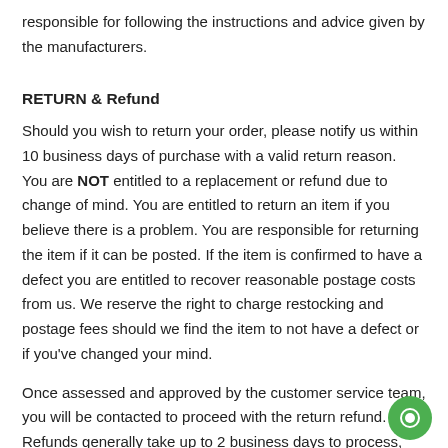responsible for following the instructions and advice given by the manufacturers.
RETURN & Refund
Should you wish to return your order, please notify us within 10 business days of purchase with a valid return reason. You are NOT entitled to a replacement or refund due to change of mind. You are entitled to return an item if you believe there is a problem. You are responsible for returning the item if it can be posted. If the item is confirmed to have a defect you are entitled to recover reasonable postage costs from us. We reserve the right to charge restocking and postage fees should we find the item to not have a defect or if you've changed your mind.
Once assessed and approved by the customer service team, you will be contacted to proceed with the return refund. Refunds generally take up to 2 business days to process, once the item